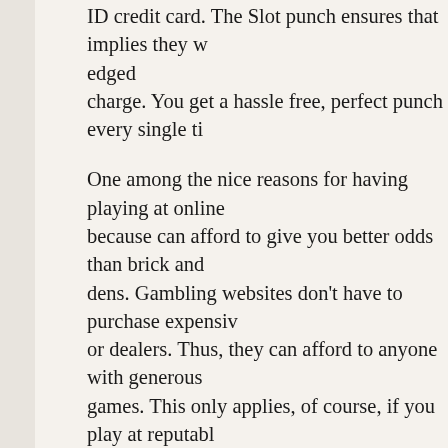ID credit card. The Slot punch ensures that implies they w edged charge. You get a hassle free, perfect punch every single ti
One among the nice reasons for having playing at online because can afford to give you better odds than brick and dens. Gambling websites don't have to purchase expensiv or dealers. Thus, they can afford to anyone with generous games. This only applies, of course, if you play at reputabl
We all love that feeling, though gambling, the percentage limit is a lot higher than other sort of games. Problem gam how you can stop gambling and fully engaged to be had. O line, work involved . no turning back for instances. This r up to a whopping 5% of social gamblers, are problem gam Consist of words, from your 20 people, one person has ga actually a concern that we'll not mouse click away.
Do not believe that slots are programmed using a set of pa